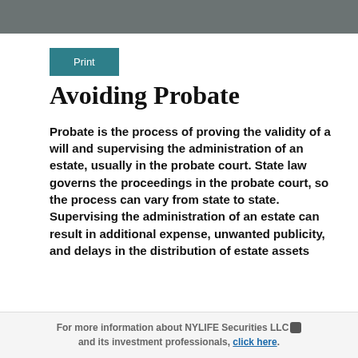Print
Avoiding Probate
Probate is the process of proving the validity of a will and supervising the administration of an estate, usually in the probate court. State law governs the proceedings in the probate court, so the process can vary from state to state. Supervising the administration of an estate can result in additional expense, unwanted publicity, and delays in the distribution of estate assets
For more information about NYLIFE Securities LLC and its investment professionals, click here.